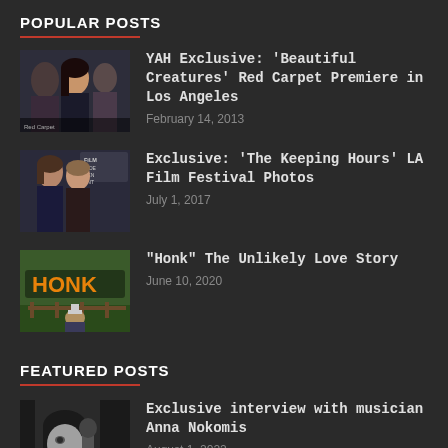POPULAR POSTS
YAH Exclusive: ‘Beautiful Creatures’ Red Carpet Premiere in Los Angeles — February 14, 2013
Exclusive: ‘The Keeping Hours’ LA Film Festival Photos — July 1, 2017
“Honk” The Unlikely Love Story — June 10, 2020
FEATURED POSTS
Exclusive interview with musician Anna Nokomis — August 1, 2022